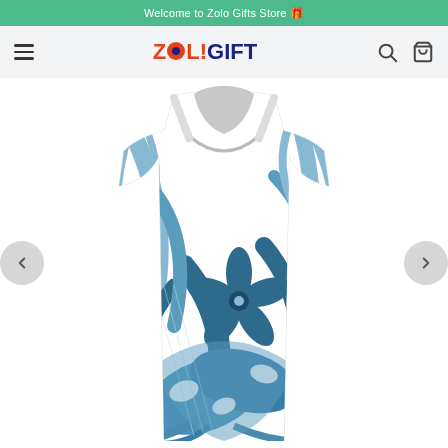Welcome to Zolo Gifts Store 🎁
[Figure (logo): ZOLO!GIFT logo with orange and dark blue colors, hamburger menu icon on left, search and cart icons on right]
[Figure (photo): Women's tank top/dress with white background featuring blue tropical Hawaiian floral print pattern with hibiscus flowers, palm leaves, and monstera leaves in shades of blue]